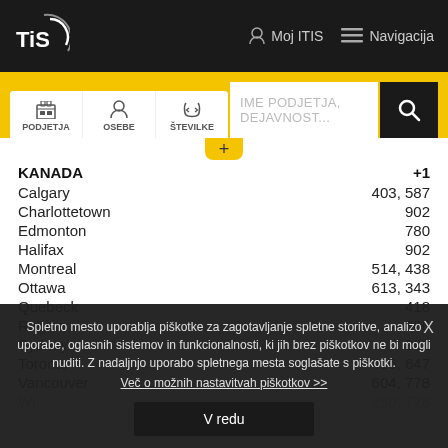[Figure (logo): TiS logo with circular arc on dark header background]
Moj ITIS   Navigacija
[Figure (screenshot): Search bar with tabs: PODJETJA, OSEBE, ŠTEVILKE and input field IME PODJETJA, DEJAVNOST... with search button]
| City | Code |
| --- | --- |
| KANADA | +1 |
| Calgary | 403, 587 |
| Charlottetown | 902 |
| Edmonton | 780 |
| Halifax | 902 |
| Montreal | 514, 438 |
| Ottawa | 613, 343 |
| Quebeck | 418 |
| Regina | 306 |
| Sydney | 902 |
| Toronto | 416, 647 |
| Vancouver | 604, 778 |
Spletno mesto uporablja piškotke za zagotavljanje spletne storitve, analizo uporabe, oglasnih sistemov in funkcionalnosti, ki jih brez piškotkov ne bi mogli nuditi. Z nadaljnjo uporabo spletnega mesta soglašate s piškotki.
Več o možnih nastavitvah piškotkov >>
V redu